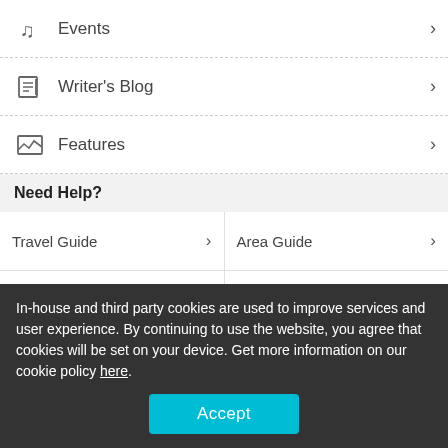Events
Writer's Blog
Features
Need Help?
Travel Guide
Area Guide
City Navi
Tourist Information
Free Wi-Fi Rental
Other
In-house and third party cookies are used to improve services and user experience. By continuing to use the website, you agree that cookies will be set on your device. Get more information on our cookie policy here.